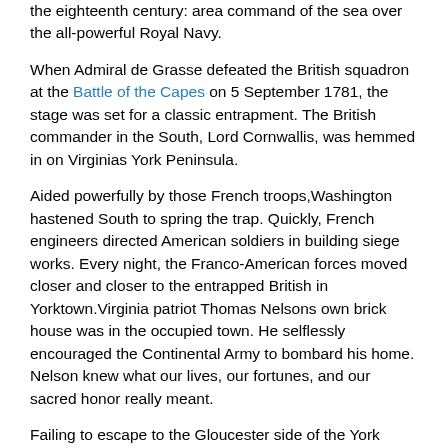the eighteenth century: area command of the sea over the all-powerful Royal Navy.
When Admiral de Grasse defeated the British squadron at the Battle of the Capes on 5 September 1781, the stage was set for a classic entrapment. The British commander in the South, Lord Cornwallis, was hemmed in on Virginias York Peninsula.
Aided powerfully by those French troops,Washington hastened South to spring the trap. Quickly, French engineers directed American soldiers in building siege works. Every night, the Franco-American forces moved closer and closer to the entrapped British in Yorktown.Virginia patriot Thomas Nelsons own brick house was in the occupied town. He selflessly encouraged the Continental Army to bombard his home. Nelson knew what our lives, our fortunes, and our sacred honor really meant.
Failing to escape to the Gloucester side of the York River, Lord Cornwallis had no choice but to surrender. Because one of Cornwallis commanders, Banastre Tarleton, had bayoneted Americans as they tried to surrender in the South, and because the Americans had been denied the full honors of war when they surrendered Charleston, South